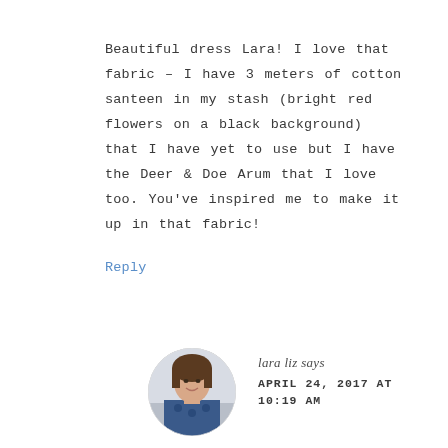Beautiful dress Lara! I love that fabric – I have 3 meters of cotton santeen in my stash (bright red flowers on a black background) that I have yet to use but I have the Deer & Doe Arum that I love too. You've inspired me to make it up in that fabric!
Reply
[Figure (photo): Circular avatar photo of a woman named lara liz, smiling, wearing a floral top]
lara liz says APRIL 24, 2017 AT 10:19 AM